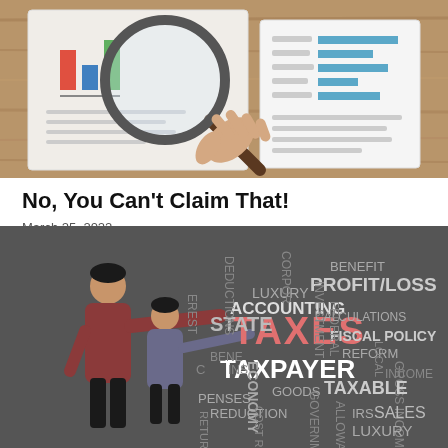[Figure (photo): Hand holding a magnifying glass over financial charts and bar graphs on paper, on a wooden desk background.]
No, You Can't Claim That!
March 25, 2022
[Figure (illustration): Two illustrated figures pointing at a dark gray word cloud containing tax-related terms: TAXES (in red/salmon), TAXPAYER, PROFIT/LOSS, ACCOUNTING, STATE, FISCAL POLICY, TAXABLE, DEDUCTIONS, ECONOMY, INVESTMENT, FEDERAL, LOCAL, GROSS INCOME, BENEFIT, CALCULATIONS, REFORM, GOODS, GOVERNMENT, ALLOWANCE, IRS, SALES, LUXURY, RETURNS, REDUCTION, COST RECOVERY, and others.]